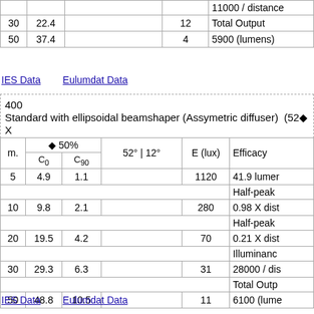| m. | C0 | C90 | 52° | 12° | E (lux) | right |
| --- | --- | --- | --- | --- | --- |
| 30 | 22.4 |  |  | 12 | 11000 / distance |
|  |  |  |  |  | Total Output |
| 50 | 37.4 |  |  | 4 | 5900 (lumens) |
IES Data    Eulumdat Data
400
Standard with ellipsoidal beamshaper (Assymetric diffuser)  (52◆ X
| m. | ◆ 50% C0 | ◆ 50% C90 | 52° | 12° | E (lux) | Efficacy / specs |
| --- | --- | --- | --- | --- | --- |
| 5 | 4.9 | 1.1 |  | 1120 | 41.9 lumer |
|  |  |  |  |  | Half-peak |
| 10 | 9.8 | 2.1 |  | 280 | 0.98 X dist |
|  |  |  |  |  | Half-peak |
| 20 | 19.5 | 4.2 |  | 70 | 0.21 X dist |
|  |  |  |  |  | Illuminanc |
| 30 | 29.3 | 6.3 |  | 31 | 28000 / dis |
|  |  |  |  |  | Total Outp |
| 50 | 48.8 | 10.5 |  | 11 | 6100 (lume |
IES Data    Eulumdat Data